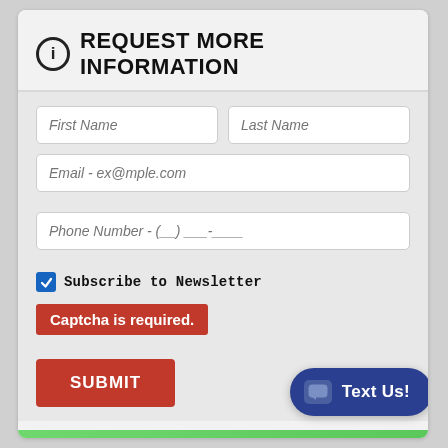REQUEST MORE INFORMATION
[Figure (screenshot): Web form with fields for First Name, Last Name, Email, Phone Number, Subscribe to Newsletter checkbox, Captcha error message, Submit button, disclaimer text, and Text Us chat button]
By pressing SUBMIT, you agree that DX1, LLC and Max Motorsports, Inc. may call/text you at the number provided, for either informational or marketing purposes, using an automatic telephone dialing system or pre-recorded/artificial voices. Msg/data rates may apply. You don't need to consent as a condition of purchase & you may revoke your consent at any time. You also agree to our Privacy Statement & Terms of Use.